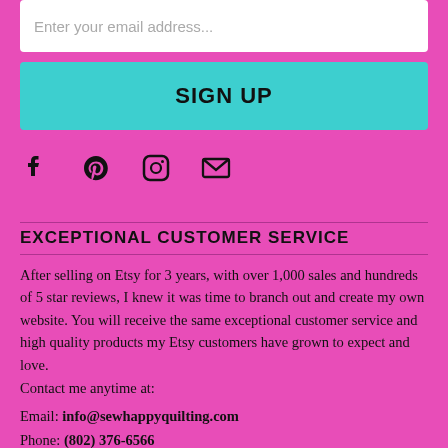Enter your email address...
SIGN UP
[Figure (infographic): Social media icons: Facebook, Pinterest, Instagram, Email/envelope]
EXCEPTIONAL CUSTOMER SERVICE
After selling on Etsy for 3 years, with over 1,000 sales and hundreds of 5 star reviews, I knew it was time to branch out and create my own website. You will receive the same exceptional customer service and high quality products my Etsy customers have grown to expect and love.
Contact me anytime at:
Email: info@sewhappyquilting.com
Phone: (802) 376-6566